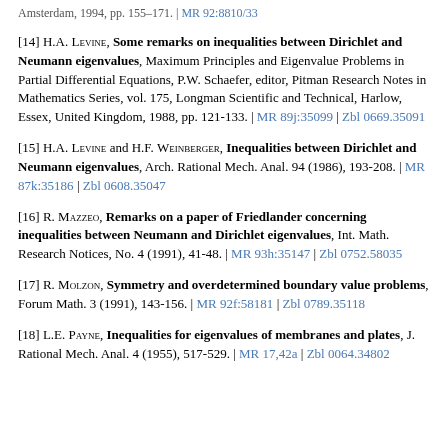[14] H.A. Levine, Some remarks on inequalities between Dirichlet and Neumann eigenvalues, Maximum Principles and Eigenvalue Problems in Partial Differential Equations, P.W. Schaefer, editor, Pitman Research Notes in Mathematics Series, vol. 175, Longman Scientific and Technical, Harlow, Essex, United Kingdom, 1988, pp. 121-133. | MR 89j:35099 | Zbl 0669.35091
[15] H.A. Levine and H.F. Weinberger, Inequalities between Dirichlet and Neumann eigenvalues, Arch. Rational Mech. Anal. 94 (1986), 193-208. | MR 87k:35186 | Zbl 0608.35047
[16] R. Mazzeo, Remarks on a paper of Friedlander concerning inequalities between Neumann and Dirichlet eigenvalues, Int. Math. Research Notices, No. 4 (1991), 41-48. | MR 93h:35147 | Zbl 0752.58035
[17] R. Molzon, Symmetry and overdetermined boundary value problems, Forum Math. 3 (1991), 143-156. | MR 92f:58181 | Zbl 0789.35118
[18] L.E. Payne, Inequalities for eigenvalues of membranes and plates, J. Rational Mech. Anal. 4 (1955), 517-529. | MR 17,42a | Zbl 0064.34802